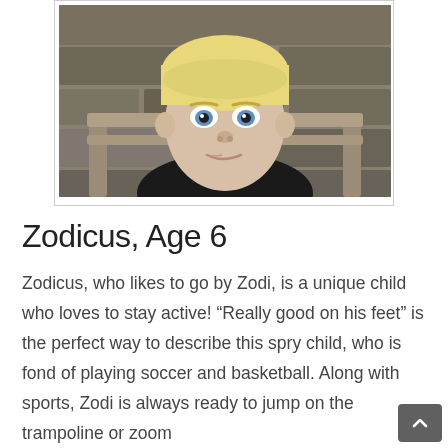[Figure (photo): Portrait photo of a young blonde child with short hair, blue eyes, wearing a black t-shirt, seated in front of a stone wall with a wooden bench/chair visible behind them. The child is making a slight smirk expression.]
Zodicus, Age 6
Zodicus, who likes to go by Zodi, is a unique child who loves to stay active! “Really good on his feet” is the perfect way to describe this spry child, who is fond of playing soccer and basketball. Along with sports, Zodi is always ready to jump on the trampoline or zoom